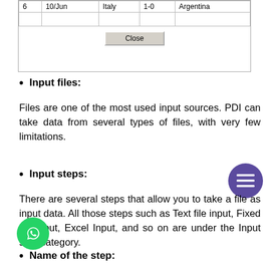[Figure (screenshot): Partial screenshot of a data table showing row with 6, 10/Jun, Italy, 1-0, Argentina, followed by an empty row and a Close button]
Input files:
Files are one of the most used input sources. PDI can take data from several types of files, with very few limitations.
Input steps:
There are several steps that allow you to take a file as input data. All those steps such as Text file input, Fixed file input, Excel Input, and so on are under the Input step category.
Name of the step: